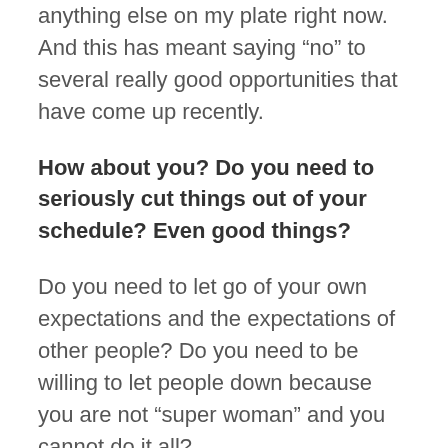anything else on my plate right now. And this has meant saying “no” to several really good opportunities that have come up recently.
How about you? Do you need to seriously cut things out of your schedule? Even good things?
Do you need to let go of your own expectations and the expectations of other people? Do you need to be willing to let people down because you are not “super woman” and you cannot do it all?
Do you need to say “no” a bit more?